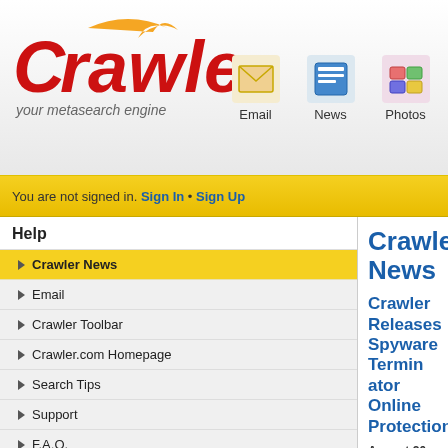[Figure (logo): Crawler logo with red stylized text and flame accent, tagline 'your metasearch engine']
[Figure (infographic): Navigation icons for Email, News, Photos with small colored icons]
You are not signed in. Sign In • Sign Up
Help
Crawler News
Email
Crawler Toolbar
Crawler.com Homepage
Search Tips
Support
F.A.Q.
Crawler Tips
Crawler Products
Free Cursors
Free IE Skins
Crawler News
Crawler Releases Spyware Terminator Online Protection
August 26, 2009: With Internet threats on the rise, Crawler is enhancing Web Security Guard which provides Online protection of Spyware Terminator 2.6.0.110 now offers enhanced... Read the whole article to learn more...
What Is Web Security Guard?
Web Security Guard is a free optional extension of Spyware malware from infecting your computer.
Web Security Guard warns you when you're about to visit a computer giving you the option to leave or enter the website. of previous visitors to the website.